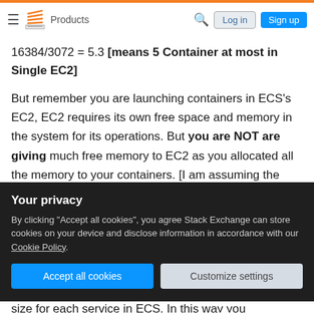≡  [Stack Overflow logo]  Products  🔍  Log in  Sign up
16384/3072 = 5.3 [means 5 Container at most in Single EC2]
But remember you are launching containers in ECS's EC2, EC2 requires its own free space and memory in the system for its operations. But you are NOT are giving much free memory to EC2 as you allocated all the memory to your containers. [I am assuming the worst case when all 5 containers utilizing 3072 MB Memory.] There you are out of memory. You have to decide the max memory number in such a way that EC2 has some free
Your privacy
By clicking "Accept all cookies", you agree Stack Exchange can store cookies on your device and disclose information in accordance with our Cookie Policy.
Accept all cookies  Customize settings
size for each service in ECS. In this way you